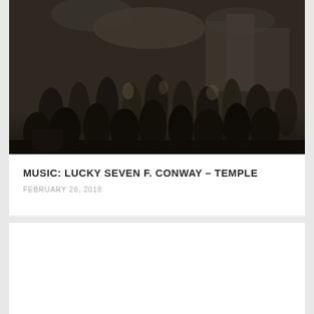[Figure (illustration): A dark historical illustration/painting depicting a crowd of people in a street scene, rendered in monochromatic dark tones (sepia/black and white). The scene appears to show many figures gathered together outdoors with buildings visible in the background.]
MUSIC: LUCKY SEVEN F. CONWAY – TEMPLE
FEBRUARY 26, 2018